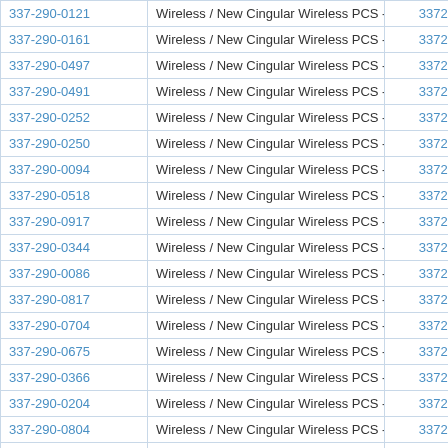| 337-290-0121 | Wireless / New Cingular Wireless PCS - GA | 3372900121 |
| 337-290-0161 | Wireless / New Cingular Wireless PCS - GA | 3372900161 |
| 337-290-0497 | Wireless / New Cingular Wireless PCS - GA | 3372900497 |
| 337-290-0491 | Wireless / New Cingular Wireless PCS - GA | 3372900491 |
| 337-290-0252 | Wireless / New Cingular Wireless PCS - GA | 3372900252 |
| 337-290-0250 | Wireless / New Cingular Wireless PCS - GA | 3372900250 |
| 337-290-0094 | Wireless / New Cingular Wireless PCS - GA | 3372900094 |
| 337-290-0518 | Wireless / New Cingular Wireless PCS - GA | 3372900518 |
| 337-290-0917 | Wireless / New Cingular Wireless PCS - GA | 3372900917 |
| 337-290-0344 | Wireless / New Cingular Wireless PCS - GA | 3372900344 |
| 337-290-0086 | Wireless / New Cingular Wireless PCS - GA | 3372900086 |
| 337-290-0817 | Wireless / New Cingular Wireless PCS - GA | 3372900817 |
| 337-290-0704 | Wireless / New Cingular Wireless PCS - GA | 3372900704 |
| 337-290-0675 | Wireless / New Cingular Wireless PCS - GA | 3372900675 |
| 337-290-0366 | Wireless / New Cingular Wireless PCS - GA | 3372900366 |
| 337-290-0204 | Wireless / New Cingular Wireless PCS - GA | 3372900204 |
| 337-290-0804 | Wireless / New Cingular Wireless PCS - GA | 3372900804 |
| 337-290-0505 | Wireless / New Cingular Wireless PCS - GA | 3372900505 |